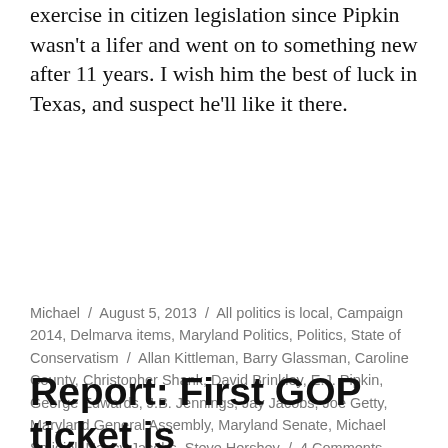exercise in citizen legislation since Pipkin wasn't a lifer and went on to something new after 11 years. I wish him the best of luck in Texas, and suspect he'll like it there.
Michael / August 5, 2013 / All politics is local, Campaign 2014, Delmarva items, Maryland Politics, Politics, State of Conservatism / Allan Kittleman, Barry Glassman, Caroline County, Christopher Shank, David Brinkley, E.J. Pipkin, George Edwards, J.B. Jennings, Jay Jacobs, Joe Getty, Maryland General Assembly, Maryland Senate, Michael Smigiel, Nancy Jacobs, Steve Hershey / 4 Comments
Report: First GOP ticket is Craig/Haddaway-Riccio